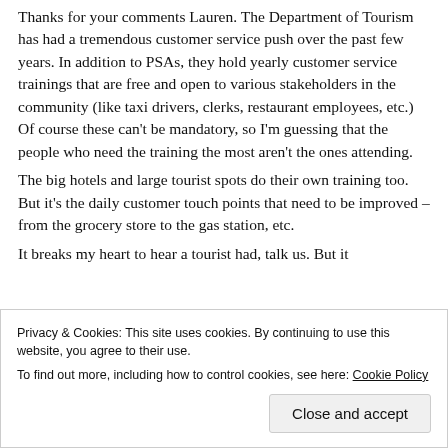Thanks for your comments Lauren. The Department of Tourism has had a tremendous customer service push over the past few years. In addition to PSAs, they hold yearly customer service trainings that are free and open to various stakeholders in the community (like taxi drivers, clerks, restaurant employees, etc.) Of course these can't be mandatory, so I'm guessing that the people who need the training the most aren't the ones attending.
The big hotels and large tourist spots do their own training too. But it's the daily customer touch points that need to be improved – from the grocery store to the gas station, etc.
It breaks my heart to hear a tourist had, talk us. But it
Privacy & Cookies: This site uses cookies. By continuing to use this website, you agree to their use.
To find out more, including how to control cookies, see here: Cookie Policy
Close and accept